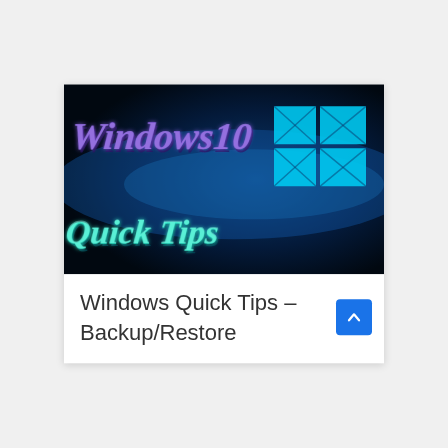[Figure (illustration): Windows 10 Quick Tips thumbnail image — dark blue/black background with 3D purple metallic 'Windows 10' text in the upper left, a glowing cyan Windows logo (four panes) in the upper right, a horizontal light beam across the middle, and cyan 3D 'Quick Tips' text in the lower left.]
Windows Quick Tips – Backup/Restore